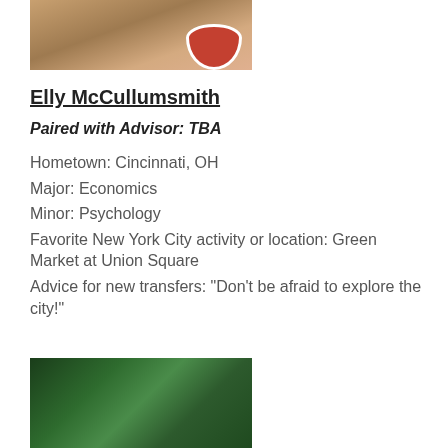[Figure (photo): Partial photo of food items on a wooden table with a bowl of red sauce]
Elly McCullumsmith
Paired with Advisor: TBA
Hometown: Cincinnati, OH
Major: Economics
Minor: Psychology
Favorite New York City activity or location: Green Market at Union Square
Advice for new transfers: "Don't be afraid to explore the city!"
[Figure (photo): Photo of dense green leafy plants or bushes]